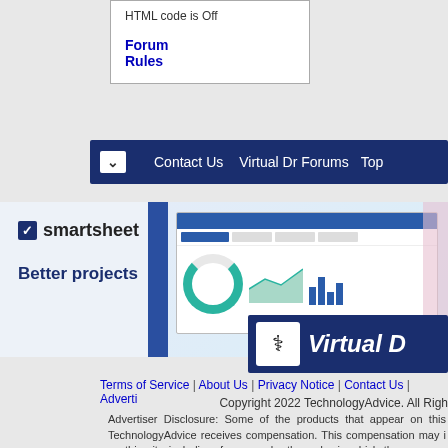HTML code is Off
Forum Rules
[Figure (screenshot): Navigation bar with Contact Us, Virtual Dr Forums, Top links on dark blue background]
[Figure (screenshot): Smartsheet advertisement banner with logo, Better projects text, and dashboard screenshot preview]
[Figure (logo): Virtual Dr logo banner - blue background with first aid icon and Virtual D text in white italic]
Terms of Service | About Us | Privacy Notice | Contact Us | Adverti...
Copyright 2022 TechnologyAdvice. All Righ...
Advertiser Disclosure: Some of the products that appear on this TechnologyAdvice receives compensation. This compensation may i... on this site including, for example, the order in which they appear. companies or all types of products available in the marketplace.
All times are GMT -4. The time now is